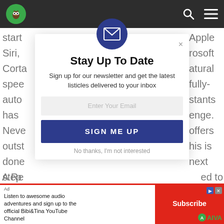[Figure (screenshot): Website navigation bar with green owl logo on left, search icon and hamburger menu on right, dark gray background]
start
Siri,
Corta
spee
auto
has
Neve
outst
done
step
Apple
rosoft
atural
fully-
tants
enge.
offers
his is
next
Stay Up To Date
Sign up for our newsletter and get the latest listicles delivered to your inbox
Enter Your Email
SIGN ME UP
No thanks, I'm not interested
A Re
ed to
Listen to awesome audio adventures and sign up to the official Bibi&Tina YouTube Channel
Subscribe